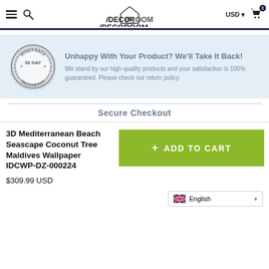[Figure (logo): iDECOROOM logo with house icon]
[Figure (illustration): 30 Day Money-Back Guarantee badge/seal]
Unhappy With Your Product? We'll Take It Back!
We stand by our high-quality products and your satisfaction is 100% guaranteed. Please check our return policy.
Secure Checkout
3D Mediterranean Beach Seascape Coconut Tree Maldives Wallpaper IDCWP-DZ-000224
$309.99 USD